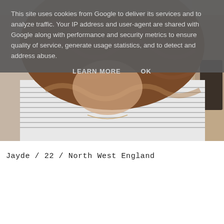[Figure (photo): Photo of a young woman with long wavy brown hair, wearing a striped top, looking down. Partial view of another person on the right side.]
This site uses cookies from Google to deliver its services and to analyze traffic. Your IP address and user-agent are shared with Google along with performance and security metrics to ensure quality of service, generate usage statistics, and to detect and address abuse.
LEARN MORE    OK
Jayde / 22 / North West England